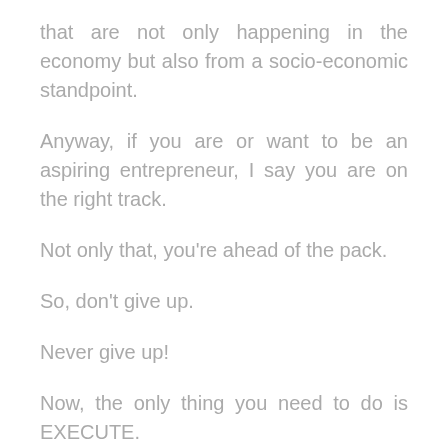that are not only happening in the economy but also from a socio-economic standpoint.
Anyway, if you are or want to be an aspiring entrepreneur, I say you are on the right track.
Not only that, you're ahead of the pack.
So, don't give up.
Never give up!
Now, the only thing you need to do is EXECUTE.